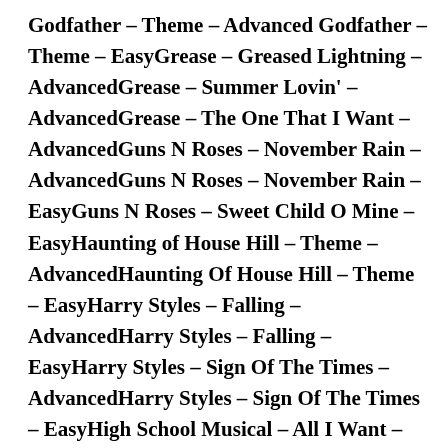Godfather – Theme – Advanced Godfather – Theme – EasyGrease – Greased Lightning – AdvancedGrease – Summer Lovin' – AdvancedGrease – The One That I Want – AdvancedGuns N Roses – November Rain – AdvancedGuns N Roses – November Rain – EasyGuns N Roses – Sweet Child O Mine – EasyHaunting of House Hill – Theme – AdvancedHaunting Of House Hill – Theme – EasyHarry Styles – Falling – AdvancedHarry Styles – Falling – EasyHarry Styles – Sign Of The Times – AdvancedHarry Styles – Sign Of The Times – EasyHigh School Musical – All I Want – AdvancedHigh School Musical – All I Want – EasyHome Alone – Somewhere In My ...